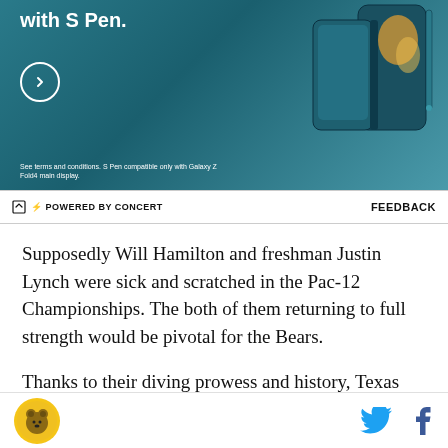[Figure (photo): Samsung Galaxy Z Fold advertisement banner with teal/dark teal phone image on right and 'with S Pen.' text on left with circular arrow button, against teal gradient background]
⚡ POWERED BY CONCERT    FEEDBACK
Supposedly Will Hamilton and freshman Justin Lynch were sick and scratched in the Pac-12 Championships. The both of them returning to full strength would be pivotal for the Bears.
Thanks to their diving prowess and history, Texas Longhorns are apparently the ones to beat again this year. From SwimSwam:
Logo icon | Twitter share | Facebook share